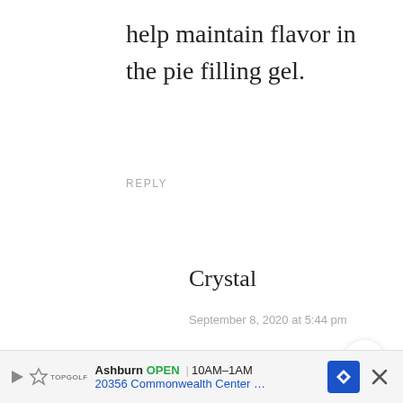help maintain flavor in the pie filling gel.
REPLY
Crystal
September 8, 2020 at 5:44 pm
I have a question on your using frozen peaches answer. have frozen peaches that are
[Figure (screenshot): Share button (circular icon with share symbol) and a 'What's Next' promotional box showing Blackberry Jam Recipe with a dark round image]
[Figure (screenshot): Advertisement bar at bottom: Ashburn OPEN 10AM-1AM, 20356 Commonwealth Center..., Topgolf logo, navigation icon, close button]